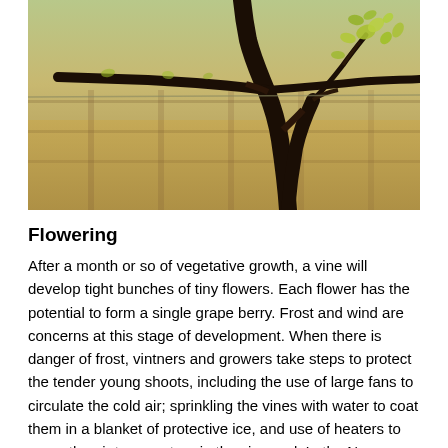[Figure (photo): Close-up photograph of grapevine with twisted woody trunk and branches, with small yellow-green leaves budding. Background shows rows of vineyard vines in soft focus with warm golden tones.]
Flowering
After a month or so of vegetative growth, a vine will develop tight bunches of tiny flowers. Each flower has the potential to form a single grape berry. Frost and wind are concerns at this stage of development. When there is danger of frost, vintners and growers take steps to protect the tender young shoots, including the use of large fans to circulate the cold air; sprinkling the vines with water to coat them in a blanket of protective ice, and use of heaters to warm the air temperature in the vineyard. In the Napa Valley, grapes grow at elevations ranging from sea level to 2,600 feet. The